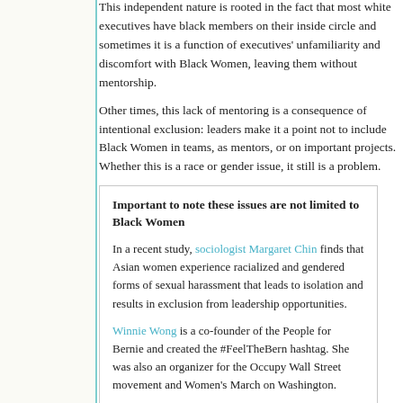This independent nature is rooted in the fact that most white executives have black members on their inside circle and sometimes it is a function of executives' unfamiliarity and discomfort with Black Women, leaving them without mentorship.
Other times, this lack of mentoring is a consequence of intentional exclusion: leaders make it a point not to include Black Women in teams, as mentors, or on important projects. Whether this is a race or gender issue, it still is a problem.
Important to note these issues are not limited to Black Women
In a recent study, sociologist Margaret Chin finds that Asian women experience racialized and gendered forms of sexual harassment that leads to isolation and results in exclusion from leadership opportunities.
Winnie Wong is a co-founder of the People for Bernie and created the #FeelTheBern hashtag. She was also an organizer for the Occupy Wall Street movement and Women's March on Washington.
Latinas, too, find that coworkers may interact with them based on stereotypes that they are unintelligent or illegally in the country based on depictions that then require extra work to disprove.
Carmen Perez is a civil rights activist focusing on racial inequality and criminal justice, and she served as a national co-chair for the...